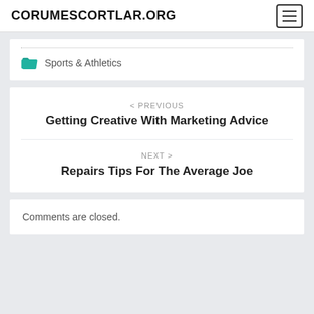CORUMESCORTLAR.ORG
Sports & Athletics
< PREVIOUS
Getting Creative With Marketing Advice
NEXT >
Repairs Tips For The Average Joe
Comments are closed.